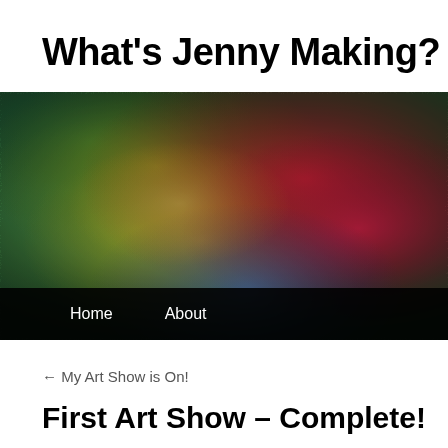What's Jenny Making?
[Figure (illustration): Header banner image showing colorful felt or fiber art texture with blended rainbow colors — green, yellow, red, pink, blue — with a navigation bar overlay at the bottom containing 'Home' and 'About' links.]
← My Art Show is On!
First Art Show – Complete!